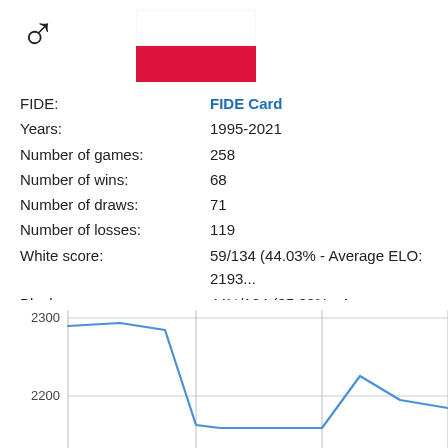[Figure (illustration): Male gender symbol (♂) icon in black, top left]
[Figure (illustration): Flag of Poland - white top half, red bottom half, rectangular]
FIDE: FIDE Card
Years: 1995-2021
Number of games: 258
Number of wins: 68
Number of draws: 71
Number of losses: 119
White score: 59/134 (44.03% - Average ELO: 2193...
Black score: 44½/124 (35.89% - Average ELO: 220...
Rating progression
[Figure (line-chart): Line chart showing rating progression over time. Y-axis labels visible: 2300 and 2200. Line starts near 2295, stays near 2290, then drops sharply to below 2200, then later rises to about 2225 then falls back to about 2190 at right edge.]